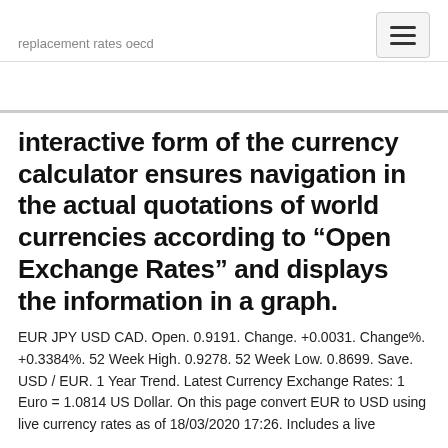replacement rates oecd
interactive form of the currency calculator ensures navigation in the actual quotations of world currencies according to “Open Exchange Rates” and displays the information in a graph.
EUR JPY USD CAD. Open. 0.9191. Change. +0.0031. Change%. +0.3384%. 52 Week High. 0.9278. 52 Week Low. 0.8699. Save. USD / EUR. 1 Year Trend. Latest Currency Exchange Rates: 1 Euro = 1.0814 US Dollar. On this page convert EUR to USD using live currency rates as of 18/03/2020 17:26. Includes a live
How Much Is 1 Euro Cent Worth